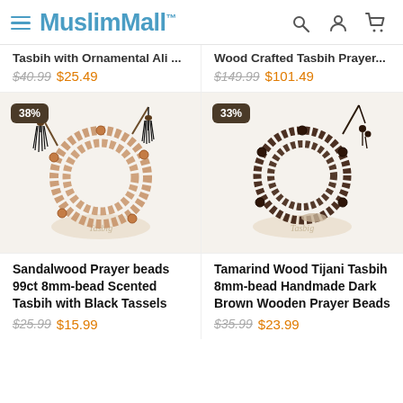MusimMall
Tasbih with Ornamental Ali ... $40.99 $25.49
Wood Crafted Tasbih Prayer... $149.99 $101.49
[Figure (photo): Sandalwood prayer beads (tasbih) with 99 beads and black tassels, coiled on a display stand. 38% discount badge shown.]
[Figure (photo): Tamarind wood dark brown tasbih prayer beads coiled on a display stand. 33% discount badge shown.]
Sandalwood Prayer beads 99ct 8mm-bead Scented Tasbih with Black Tassels
$25.99 $15.99
Tamarind Wood Tijani Tasbih 8mm-bead Handmade Dark Brown Wooden Prayer Beads
$35.99 $23.99